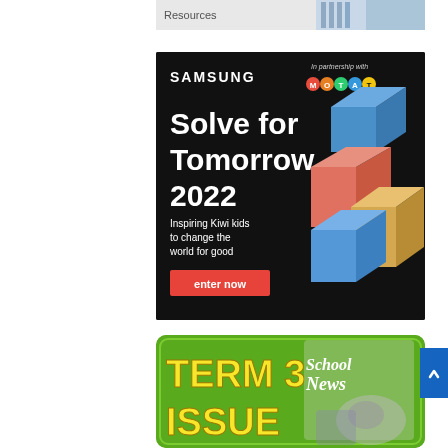[Figure (illustration): Top partial banner strip showing 'Resources' text with decorative imagery on grey background]
[Figure (infographic): Samsung 'Solve for Tomorrow 2022' advertisement on black background. Features Samsung logo top-left, 'In partnership with MOTAT' top-right with colored circle icons, large white bold headline 'Solve for Tomorrow 2022', subtitle 'Inspiring Kiwi kids to change the world for good', a red 'enter now' button, and colorful 3D interlocking blocks (blue, salmon-red, tan/gold) on the right side.]
[Figure (infographic): SchoolNews magazine advertisement on green background. Shows 'TERM 3 ISSUE' in large yellow bold text on the left, and a SchoolNews magazine cover image on the right. Text cut off at bottom.]